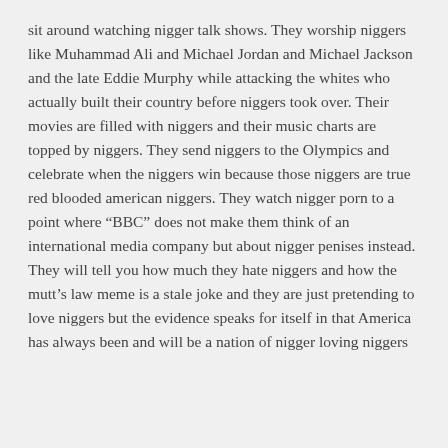sit around watching nigger talk shows. They worship niggers like Muhammad Ali and Michael Jordan and Michael Jackson and the late Eddie Murphy while attacking the whites who actually built their country before niggers took over. Their movies are filled with niggers and their music charts are topped by niggers. They send niggers to the Olympics and celebrate when the niggers win because those niggers are true red blooded american niggers. They watch nigger porn to a point where “BBC” does not make them think of an international media company but about nigger penises instead. They will tell you how much they hate niggers and how the mutt’s law meme is a stale joke and they are just pretending to love niggers but the evidence speaks for itself in that America has always been and will be a nation of nigger loving niggers